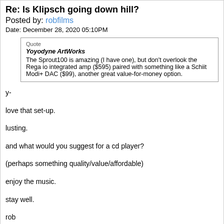Re: Is Klipsch going down hill?
Posted by: robfilms
Date: December 28, 2020 05:10PM
Quote
Yoyodyne ArtWorks
The Sprout100 is amazing (I have one), but don't overlook the Rega io integrated amp ($595) paired with something like a Schiit Modi+ DAC ($99), another great value-for-money option.
y-
love that set-up.
lusting.
and what would you suggest for a cd player?
(perhaps something quality/value/affordable)
enjoy the music.
stay well.
rob
Options: Reply • Quote
Re: Is Klipsch going down hill?
Posted by: N-OS X-tasy!